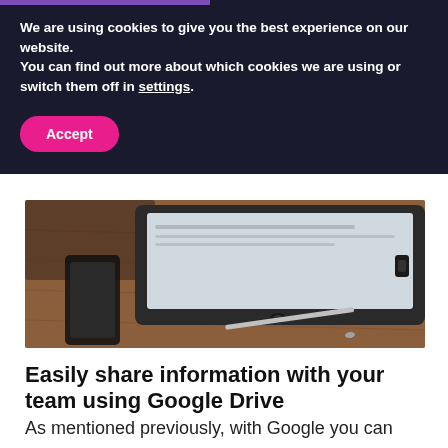We are using cookies to give you the best experience on our website.
You can find out more about which cookies we are using or switch them off in settings.
Accept
[Figure (photo): Close-up of a tablet device lying flat on a wooden desk with a stylus pen, with a coffee cup and smartphone in the background]
Easily share information with your team using Google Drive
As mentioned previously, with Google you can collaborate on documents easily with your team. Google Drive does so much more